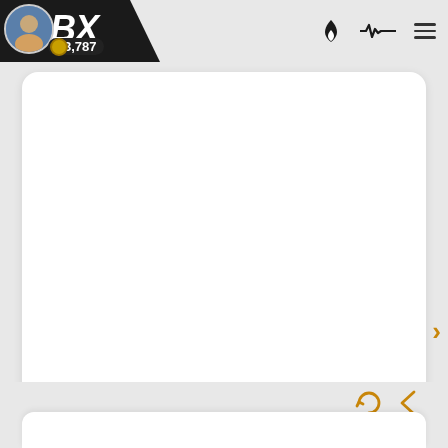BX  3,787
[Figure (screenshot): White card area representing an article image or video placeholder with rounded corners]
SC How Barcelona is breaking time and space to acquire new talent.
8 replies  |  2 w ago
by Doc Goblin  |  3 w
[Figure (screenshot): Bottom partial card peeking from below with refresh and back arrow icons in orange]